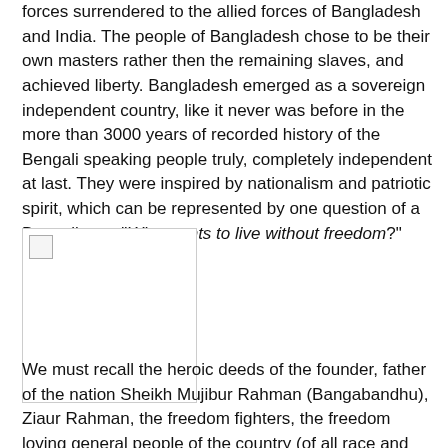forces surrendered to the allied forces of Bangladesh and India. The people of Bangladesh chose to be their own masters rather then the remaining slaves, and achieved liberty. Bangladesh emerged as a sovereign independent country, like it never was before in the more than 3000 years of recorded history of the Bengali speaking people truly, completely independent at last. They were inspired by nationalism and patriotic spirit, which can be represented by one question of a Bengali poet "Who wants to live without freedom?"
[Figure (photo): A photo placeholder showing a broken image icon in the upper left corner, with a white background and light gray border.]
We must recall the heroic deeds of the founder, father of the nation Sheikh Mujibur Rahman (Bangabandhu), Ziaur Rahman, the freedom fighters, the freedom loving general people of the country (of all race and religion), Ms. Indira Gandhi, and the people of our neighbor India for their